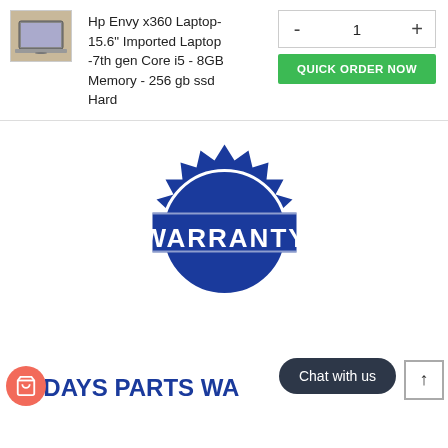[Figure (photo): Thumbnail photo of HP Envy x360 laptop]
Hp Envy x360 Laptop- 15.6" Imported Laptop -7th gen Core i5 - 8GB Memory - 256 gb ssd Hard
- 1 +
QUICK ORDER NOW
[Figure (illustration): Blue warranty seal/badge with the word WARRANTY in the center on a blue ribbon banner]
30 DAYS PARTS WA...
Chat with us
↑